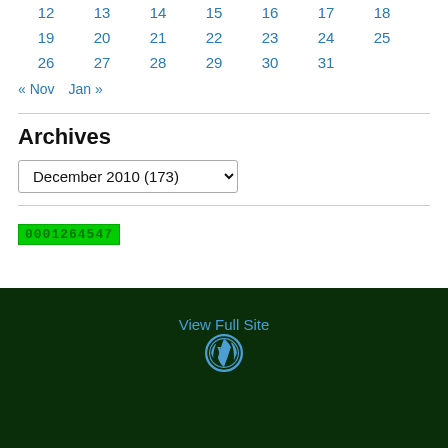| 12 | 13 | 14 | 15 | 16 | 17 | 18 |
| 19 | 20 | 21 | 22 | 23 | 24 | 25 |
| 26 | 27 | 28 | 29 | 30 | 31 |  |
« Nov   Jan »
Archives
December 2010  (173)
[Figure (other): Green counter badge displaying 0001264547]
View Full Site